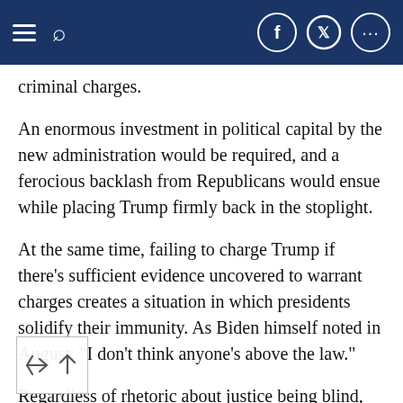Navigation bar with menu, search, Facebook, Twitter, and share icons
criminal charges.
An enormous investment in political capital by the new administration would be required, and a ferocious backlash from Republicans would ensue while placing Trump firmly back in the stoplight.
At the same time, failing to charge Trump if there's sufficient evidence uncovered to warrant charges creates a situation in which presidents solidify their immunity. As Biden himself noted in August: "I don't think anyone's above the law."
Regardless of rhetoric about justice being blind, any decision to charge Trump with a federal criminal offence is at least partly political, and will rest with Biden. At the